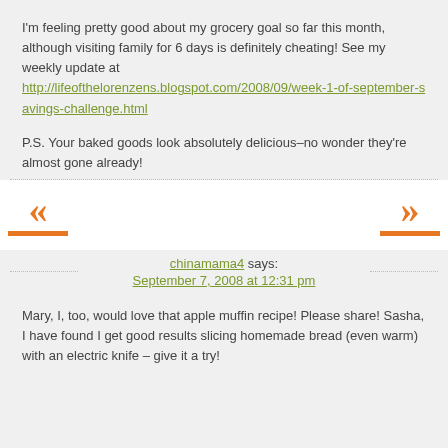I'm feeling pretty good about my grocery goal so far this month, although visiting family for 6 days is definitely cheating! See my weekly update at http://lifeofthelorenzens.blogspot.com/2008/09/week-1-of-september-savings-challenge.html
P.S. Your baked goods look absolutely delicious–no wonder they're almost gone already!
[Figure (other): Navigation arrows: left double chevron with orange underline bar on the left, right double chevron with orange underline bar on the right]
chinamama4 says: September 7, 2008 at 12:31 pm
Mary, I, too, would love that apple muffin recipe! Please share! Sasha, I have found I get good results slicing homemade bread (even warm) with an electric knife – give it a try!